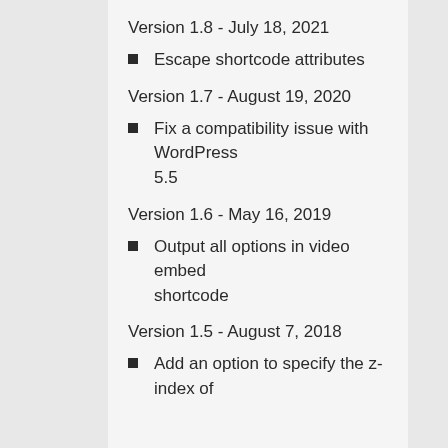Version 1.8 - July 18, 2021
Escape shortcode attributes
Version 1.7 - August 19, 2020
Fix a compatibility issue with WordPress 5.5
Version 1.6 - May 16, 2019
Output all options in video embed shortcode
Version 1.5 - August 7, 2018
Add an option to specify the z-index of